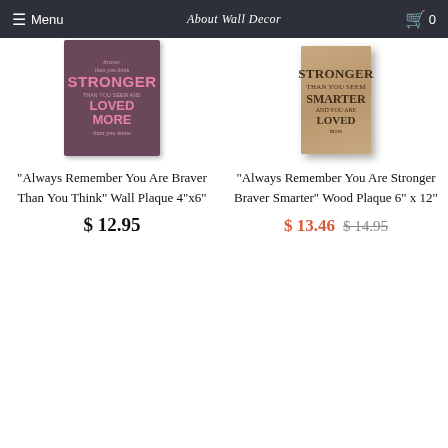Menu | About Wall Decor | 0
[Figure (photo): Pink/dark wall plaque with inspirational quote: braver than you think, STRONGER THAN YOU SEEM AND LOVED MORE than you know]
"Always Remember You Are Braver Than You Think" Wall Plaque 4"x6"
$ 12.95
[Figure (photo): Wooden plaque set with text: Stronger, Braver, Smarter, Loved more]
"Always Remember You Are Stronger Braver Smarter" Wood Plaque 6" x 12"
$ 13.46  $14.95